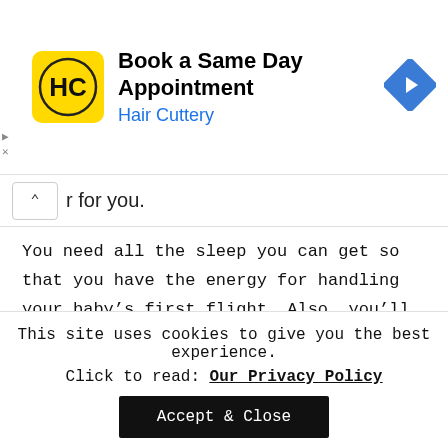[Figure (logo): Hair Cuttery advertisement banner with yellow logo, bold title 'Book a Same Day Appointment', subtitle 'Hair Cuttery' in blue, and a blue navigation arrow icon on the right]
er for you.
You need all the sleep you can get so that you have the energy for handling your baby's first flight. Also, you'll be happier and less frustrated if things go wrong.
Sleep does wonders. Lack of sleep can ruin your
This site uses cookies to give you the best experience.
Click to read: Our Privacy Policy
Accept & Close